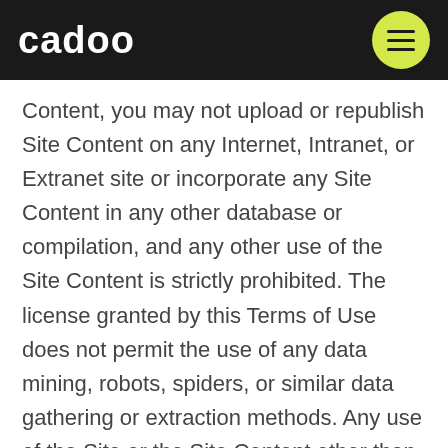cadoo
Content, you may not upload or republish Site Content on any Internet, Intranet, or Extranet site or incorporate any Site Content in any other database or compilation, and any other use of the Site Content is strictly prohibited. The license granted by this Terms of Use does not permit the use of any data mining, robots, spiders, or similar data gathering or extraction methods. Any use of the Site or the Site Content other than as specifically authorized herein, without the prior written permission of Company, is strictly prohibited and will terminate